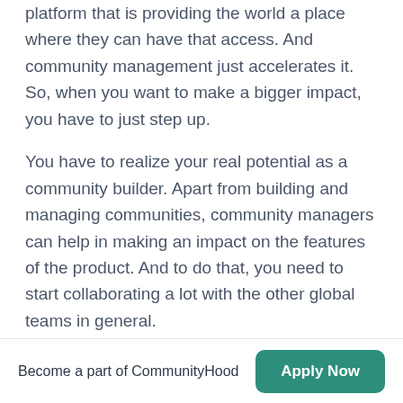platform that is providing the world a place where they can have that access. And community management just accelerates it. So, when you want to make a bigger impact, you have to just step up.
You have to realize your real potential as a community builder. Apart from building and managing communities, community managers can help in making an impact on the features of the product. And to do that, you need to start collaborating a lot with the other global teams in general.
You would also need to be a part of the testing of
Become a part of CommunityHood   Apply Now